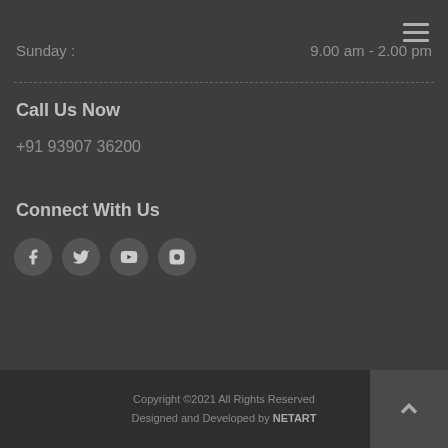Sunday :   9.00 am - 2.00 pm
Call Us Now
+91 93907 36200
Connect With Us
[Figure (infographic): Four social media icons in dark circular buttons: Facebook, Twitter, YouTube, Instagram]
Copyright ©2021 All Rights Reserved
Designed and Developed by NETART